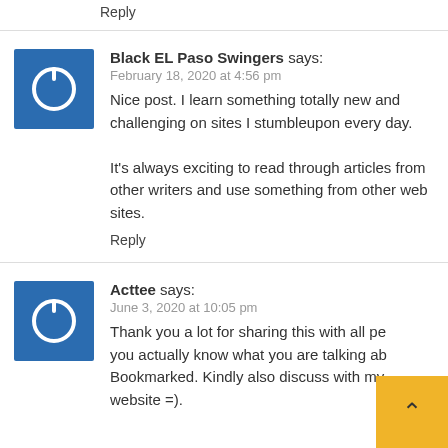Reply
[Figure (illustration): Blue square avatar with white power/circle icon]
Black EL Paso Swingers says:
February 18, 2020 at 4:56 pm
Nice post. I learn something totally new and challenging on sites I stumbleupon every day. It's always exciting to read through articles from other writers and use something from other web sites.
Reply
[Figure (illustration): Blue square avatar with white power/circle icon]
Acttee says:
June 3, 2020 at 10:05 pm
Thank you a lot for sharing this with all pe you actually know what you are talking ab Bookmarked. Kindly also discuss with my website =).